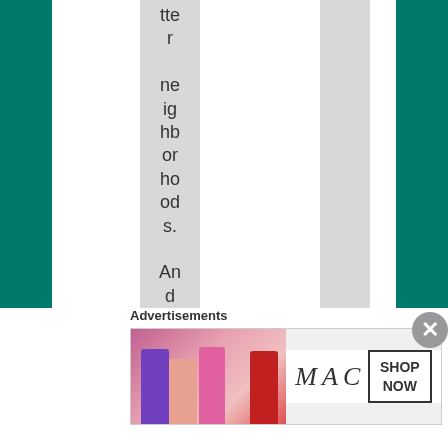tte r ne ig hb or ho od s. An d th en yo u fin all
[Figure (illustration): MAC Cosmetics advertisement banner with lipsticks in purple, pink, and red colors, MAC logo text, and SHOP NOW button]
Advertisements